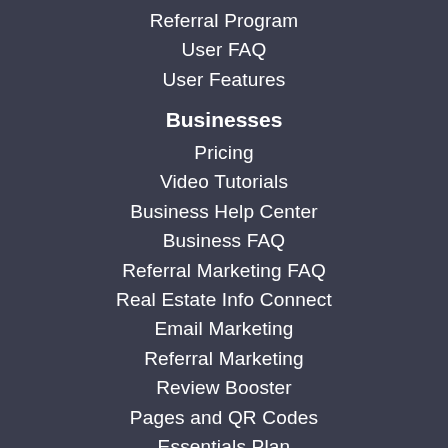Referral Program
User FAQ
User Features
Businesses
Pricing
Video Tutorials
Business Help Center
Business FAQ
Referral Marketing FAQ
Real Estate Info Connect
Email Marketing
Referral Marketing
Review Booster
Pages and QR Codes
Essentials Plan
Plus Plan
Cities
Covid Hours in Your City